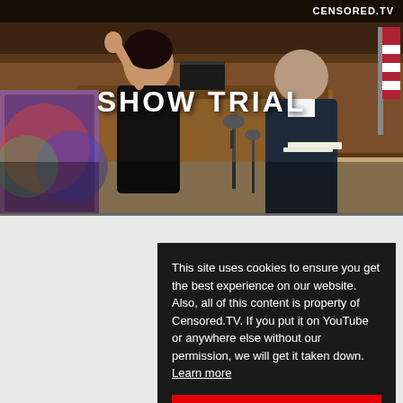[Figure (screenshot): Courtroom scene screenshot showing a female judge in black robe with hand raised and a man in a dark suit facing her, with wooden courtroom interior and flags in background. Large white text 'SHOW TRIAL' overlaid in center. 'CENSORED.TV' watermark in upper right corner.]
WRONG OR...
THE ALEX JON...
SHOW TRIAL,...
SPACE DOESN'T...
V
This site uses cookies to ensure you get the best experience on our website. Also, all of this content is property of Censored.TV. If you put it on YouTube or anywhere else without our permission, we will get it taken down.  Learn more
I understand!